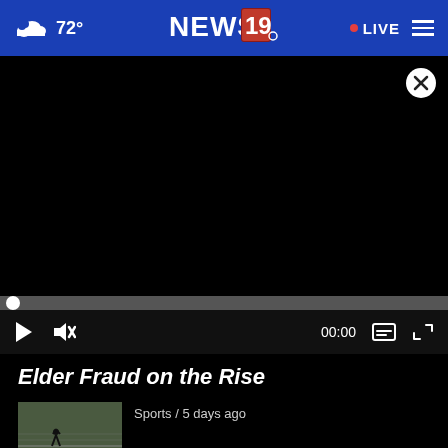72° NEWS19 • LIVE
[Figure (screenshot): Black video player with close (X) button in top-right corner, progress bar at bottom, and media controls (play, mute, 00:00, captions, fullscreen)]
Elder Fraud on the Rise
[Figure (photo): Small sports thumbnail image]
Sports / 5 days ago